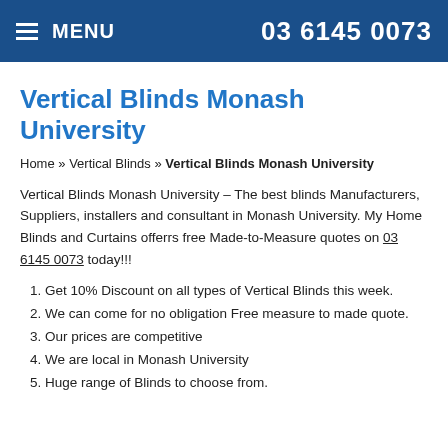MENU   03 6145 0073
Vertical Blinds Monash University
Home » Vertical Blinds » Vertical Blinds Monash University
Vertical Blinds Monash University – The best blinds Manufacturers, Suppliers, installers and consultant in Monash University. My Home Blinds and Curtains offerrs free Made-to-Measure quotes on 03 6145 0073 today!!!
1. Get 10% Discount on all types of Vertical Blinds this week.
2. We can come for no obligation Free measure to made quote.
3. Our prices are competitive
4. We are local in Monash University
5. Huge range of Blinds to choose from.